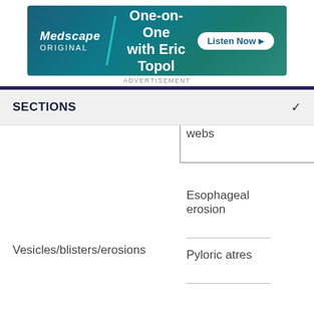[Figure (other): Medscape Original advertisement banner: One-on-One with Eric Topol, Listen Now button]
ADVERTISEMENT
SECTIONS
webs
Esophageal erosion
Vesicles/blisters/erosions
Pyloric atres
Hepatitis